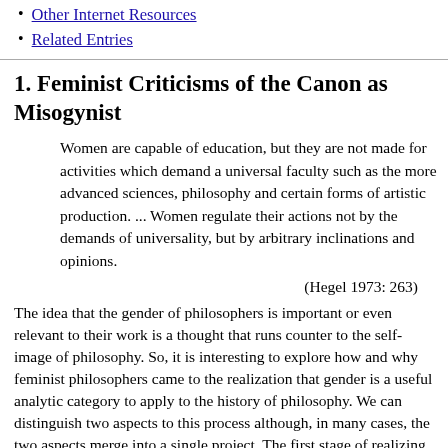Other Internet Resources
Related Entries
1. Feminist Criticisms of the Canon as Misogynist
Women are capable of education, but they are not made for activities which demand a universal faculty such as the more advanced sciences, philosophy and certain forms of artistic production. ... Women regulate their actions not by the demands of universality, but by arbitrary inclinations and opinions.
(Hegel 1973: 263)
The idea that the gender of philosophers is important or even relevant to their work is a thought that runs counter to the self-image of philosophy. So, it is interesting to explore how and why feminist philosophers came to the realization that gender is a useful analytic category to apply to the history of philosophy. We can distinguish two aspects to this process although, in many cases, the two aspects merge into a single project. The first stage of realizing the importance of gender consisted of the cataloguing of the explicit misogyny of most of the canon. The second stage...